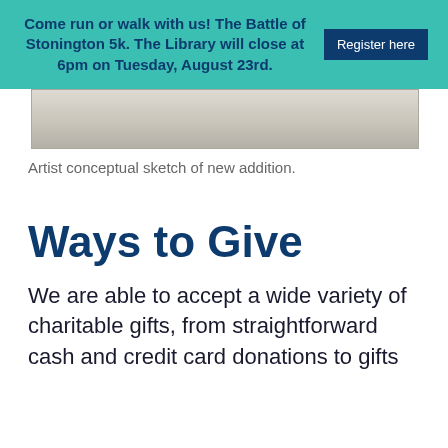Come run or walk with us! The Battle of Stonington 5k. The Library will close at 6pm on Tuesday, August 23rd. Register here
[Figure (photo): Artist conceptual sketch of a new building addition — a horizontal architectural rendering showing a light-colored structure.]
Artist conceptual sketch of new addition.
Ways to Give
We are able to accept a wide variety of charitable gifts, from straightforward cash and credit card donations to gifts of...